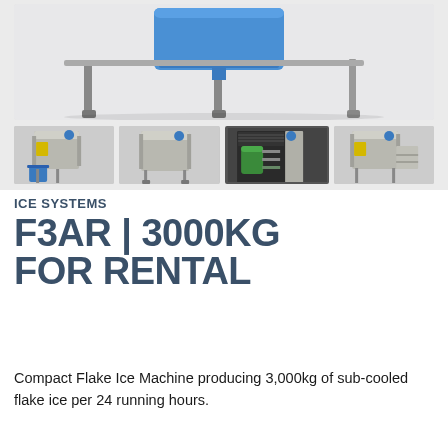[Figure (photo): Gallery of flake ice machine product photos. Main large image shows top of stainless steel ice machine with blue water tank on legs against light gray background. Four thumbnail images below show: (1) full machine with blue bucket, (2) machine without accessories, (3) open machine showing internal green compressor components, (4) machine with side panel and shelving unit.]
ICE SYSTEMS
F3AR | 3000KG
FOR RENTAL
Compact Flake Ice Machine producing 3,000kg of sub-cooled flake ice per 24 running hours.